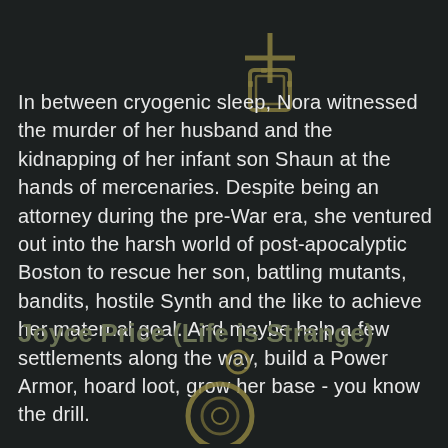[Figure (illustration): Decorative golden cross/plus icon with gear-like center overlay, positioned upper area]
In between cryogenic sleep, Nora witnessed the murder of her husband and the kidnapping of her infant son Shaun at the hands of mercenaries. Despite being an attorney during the pre-War era, she ventured out into the harsh world of post-apocalyptic Boston to rescue her son, battling mutants, bandits, hostile Synth and the like to achieve her maternal goal. And maybe help a few settlements along the way, build a Power Armor, hoard loot, grow her base - you know the drill.
Joyce Price (Life is Strange)
[Figure (illustration): Decorative golden circle/ring icons, positioned bottom center]